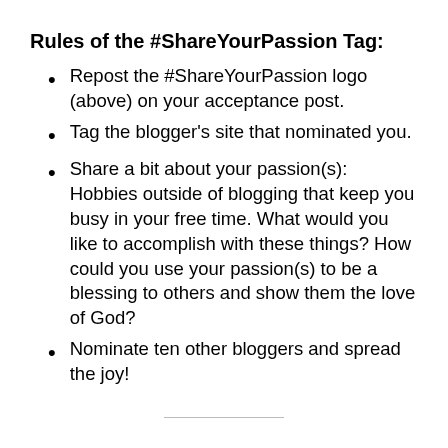Rules of the #ShareYourPassion Tag:
Repost the #ShareYourPassion logo (above) on your acceptance post.
Tag the blogger's site that nominated you.
Share a bit about your passion(s): Hobbies outside of blogging that keep you busy in your free time. What would you like to accomplish with these things? How could you use your passion(s) to be a blessing to others and show them the love of God?
Nominate ten other bloggers and spread the joy!